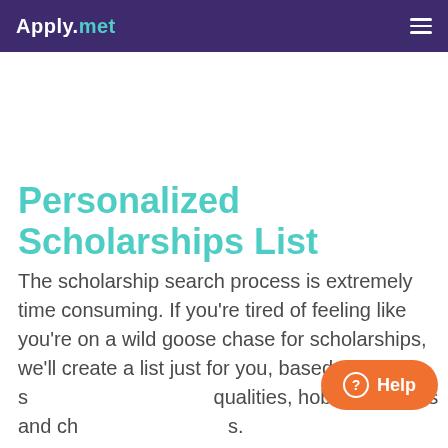Apply.me
Personalized Scholarships List
The scholarship search process is extremely time consuming. If you're tired of feeling like you're on a wild goose chase for scholarships, we'll create a list just for you, based on your s qualities, hobbies, talents and ch characteristics.
See more →